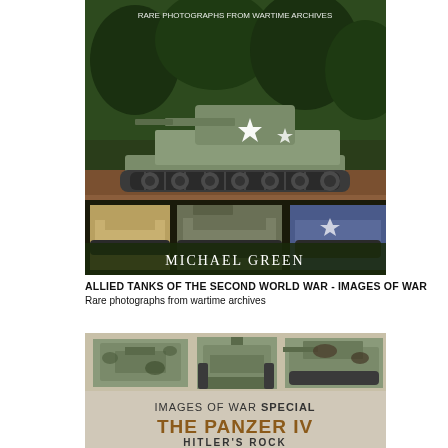[Figure (photo): Book cover of 'Allied Tanks of the Second World War - Images of War' by Michael Green. Shows a large Sherman tank with white star markings in main image, with strip of smaller tank photos below, on dark background.]
ALLIED TANKS OF THE SECOND WORLD WAR - IMAGES OF WAR
Rare photographs from wartime archives
[Figure (photo): Book cover of 'Images of War Special: The Panzer IV - Hitler's Rock'. Shows top-view, front-view, and side-view diagrams/illustrations of the Panzer IV tank in camouflage pattern.]